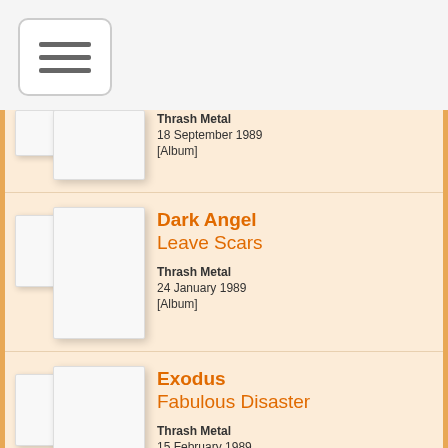[Figure (screenshot): Hamburger menu button icon]
Thrash Metal
18 September 1989
[Album]
Dark Angel
Leave Scars
Thrash Metal
24 January 1989
[Album]
Exodus
Fabulous Disaster
Thrash Metal
15 February 1989
[Album]